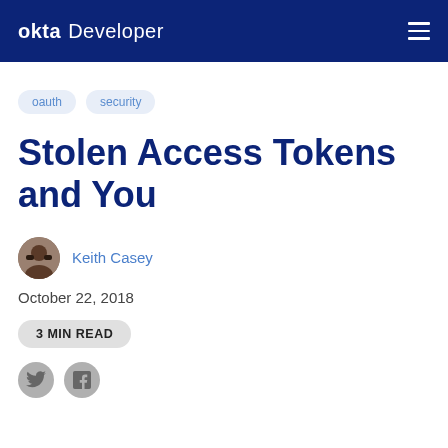okta Developer
oauth
security
Stolen Access Tokens and You
Keith Casey
October 22, 2018
3 MIN READ